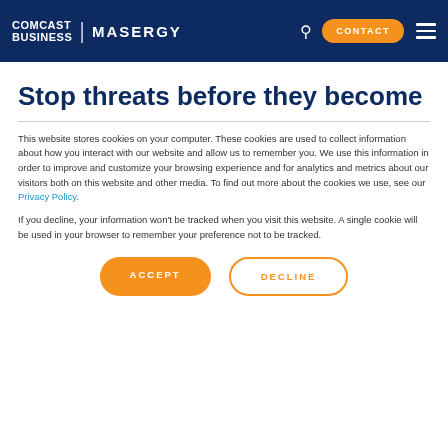COMCAST BUSINESS | MASERGY  CONTACT
Stop threats before they become
This website stores cookies on your computer. These cookies are used to collect information about how you interact with our website and allow us to remember you. We use this information in order to improve and customize your browsing experience and for analytics and metrics about our visitors both on this website and other media. To find out more about the cookies we use, see our Privacy Policy.
If you decline, your information won't be tracked when you visit this website. A single cookie will be used in your browser to remember your preference not to be tracked.
ACCEPT   DECLINE